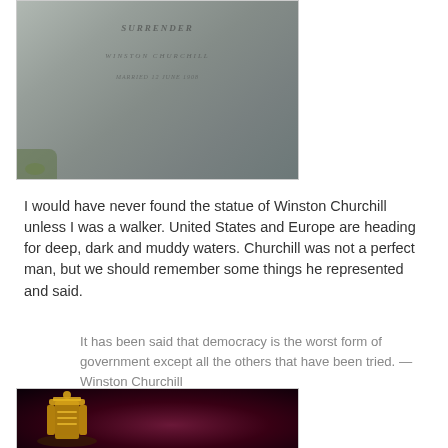[Figure (photo): A gravestone or memorial plaque with engraved text reading something like 'SURRENDER / WINSTON CHURCHILL / [date]', photographed outdoors with green foliage visible.]
I would have never found the statue of Winston Churchill unless I was a walker. United States and Europe are heading for deep, dark and muddy waters. Churchill was not a perfect man, but we should remember some things he represented and said.
It has been said that democracy is the worst form of government except all the others that have been tried. — Winston Churchill
[Figure (photo): A dark maroon/crimson background with a golden metallic decorative object (possibly a ceremonial item or sculpture) in the foreground, partially visible at the bottom of the frame.]